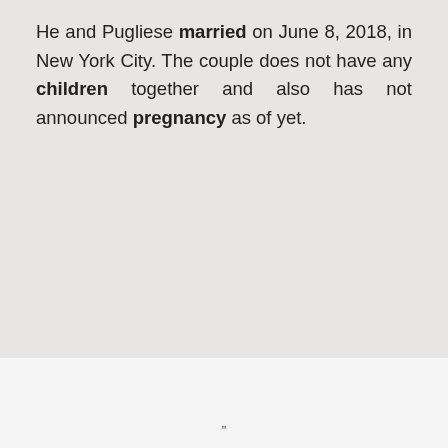He and Pugliese married on June 8, 2018, in New York City. The couple does not have any children together and also has not announced pregnancy as of yet.